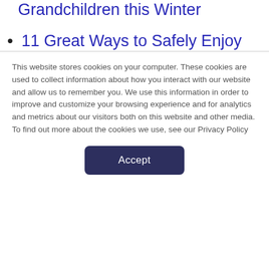Grandchildren this Winter
11 Great Ways to Safely Enjoy This Spring
11 Fun and Safe Summer Activities for Older Adults
Stay Safe This Autumn - Tips for Older Adults
This website stores cookies on your computer. These cookies are used to collect information about how you interact with our website and allow us to remember you. We use this information in order to improve and customize your browsing experience and for analytics and metrics about our visitors both on this website and other media. To find out more about the cookies we use, see our Privacy Policy